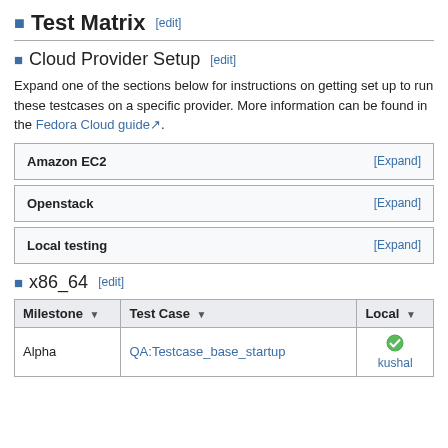Test Matrix [edit]
Cloud Provider Setup [edit]
Expand one of the sections below for instructions on getting set up to run these testcases on a specific provider. More information can be found in the Fedora Cloud guide.
| Amazon EC2 | [Expand] |
| --- | --- |
| Openstack | [Expand] |
| --- | --- |
| Local testing | [Expand] |
| --- | --- |
x86_64 [edit]
| Milestone | Test Case | Local |
| --- | --- | --- |
| Alpha | QA:Testcase_base_startup | kushal |